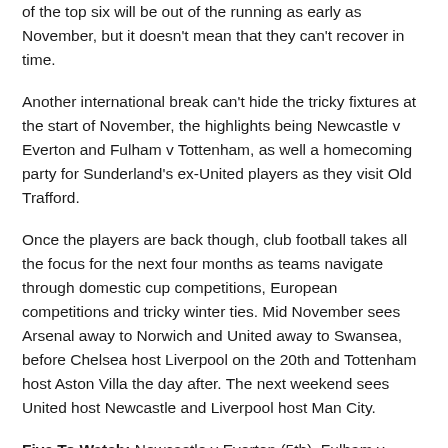of the top six will be out of the running as early as November, but it doesn't mean that they can't recover in time.
Another international break can't hide the tricky fixtures at the start of November, the highlights being Newcastle v Everton and Fulham v Tottenham, as well a homecoming party for Sunderland's ex-United players as they visit Old Trafford.
Once the players are back though, club football takes all the focus for the next four months as teams navigate through domestic cup competitions, European competitions and tricky winter ties. Mid November sees Arsenal away to Norwich and United away to Swansea, before Chelsea host Liverpool on the 20th and Tottenham host Aston Villa the day after. The next weekend sees United host Newcastle and Liverpool host Man City.
Five To Watch: Newcastle v Everton (5th), Fulham v